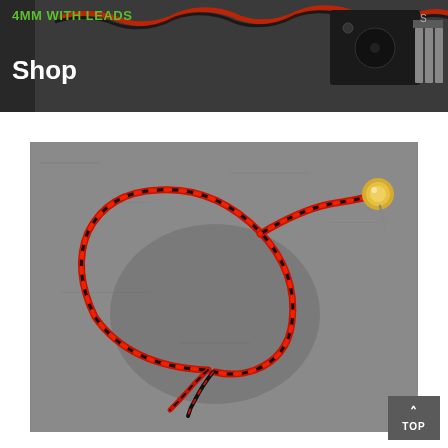4MM WITH LEADS
Shop
[Figure (photo): Product photo of a 4mm component with leads — twisted red and black wire formed into a loop, ending in a small gold disc/lead at one end and bare wire ends at the other, placed on a grey surface.]
TOP